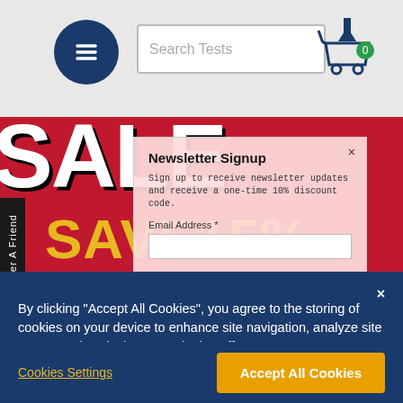[Figure (screenshot): Navigation header with hamburger menu button (dark blue circle), search bar labeled 'Search Tests', and shopping cart icon with '0' badge]
[Figure (screenshot): Sale banner with large white 'SALE' text on red background and yellow 'SAVE15%' text below]
[Figure (screenshot): Newsletter Signup modal overlay with close button (x), body text about 10% discount, Email Address field]
[Figure (screenshot): Black vertical 'Refer A Friend' tab on left edge]
By clicking “Accept All Cookies”, you agree to the storing of cookies on your device to enhance site navigation, analyze site usage, and assist in our marketing efforts.
Cookies Settings
Accept All Cookies